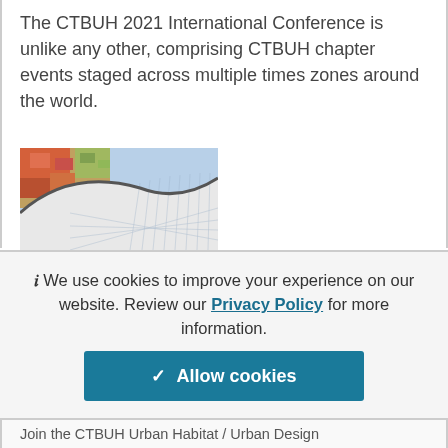The CTBUH 2021 International Conference is unlike any other, comprising CTBUH chapter events staged across multiple times zones around the world.
[Figure (photo): Aerial/artistic photo showing a curved architectural or urban structure with colorful elements and a white grid-patterned surface]
We use cookies to improve your experience on our website. Review our Privacy Policy for more information.
✓ Allow cookies
Join the CTBUH Urban Habitat / Urban Design